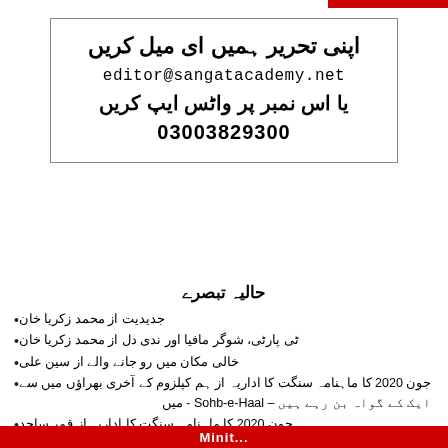اپنی تحریر ہمیں ای میل کریں
editor@sangatacademy.net
یا اس نمبر پر واٹس ایپ کریں
03003829300
حالیہ تبصرے
جدیدیت از محمد زکریا خان
ٹی پارٹی، شوگر مافیا اور ندی دل از محمد زکریا خان
خالی مکان میں رو جانے والے از سین علی
جون 2020 کا ماہنامہ سنگت کا اداریہ از ہم کپلزوم کے آخری بھراؤں میں سے ایک کے گواہ بن رہے ہیں – Sohb-e-Haal - میں
جون 2020 کا ماہنامہ سنگت کا اداریہ از قمر ساجد
Minit...